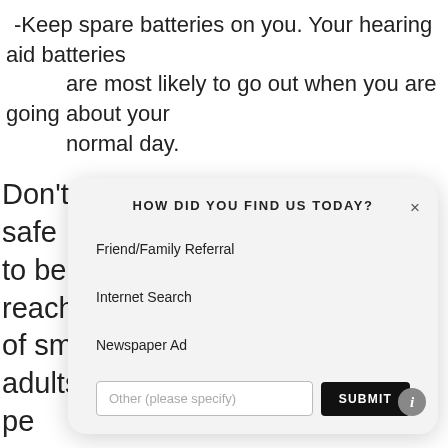-Keep spare batteries on you. Your hearing aid batteries are most likely to go out when you are going about your normal day.
Don't forget that batteries are not safe to be ingested. Keep them out of reach of small children, vulnerable adults, and pe... do... Na... (2...
[Figure (other): A modal dialog overlaying the article text, titled 'HOW DID YOU FIND US TODAY?' with a close (×) button. Options listed: Friend/Family Referral, Internet Search, Newspaper Ad. Below is a text input placeholder 'Other (please specify)' and a black SUBMIT button. An info (i) icon is at the bottom right.]